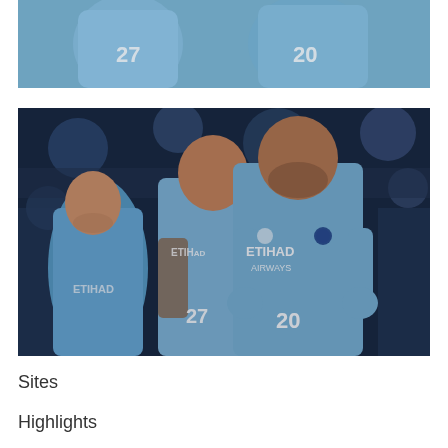[Figure (photo): Top cropped portion of Manchester City football players in light blue Etihad Airways jerseys, numbers 27 and 20 visible, celebrating on pitch]
[Figure (photo): Manchester City football players celebrating in light blue Etihad Airways jerseys. Player number 20 (Bernardo Silva) in foreground pumping fists, player number 27 behind him, and Phil Foden smiling on the left, stadium background with bokeh lights]
Sites
Highlights